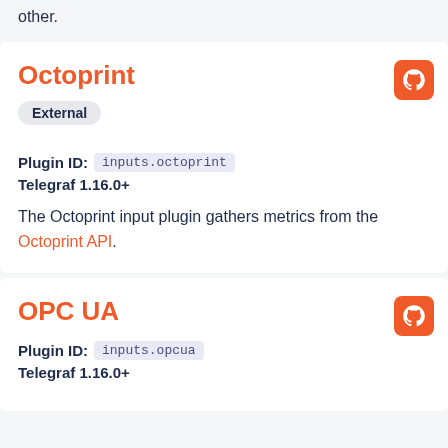other.
Octoprint
External
Plugin ID: inputs.octoprint
Telegraf 1.16.0+
The Octoprint input plugin gathers metrics from the Octoprint API.
OPC UA
Plugin ID: inputs.opcua
Telegraf 1.16.0+